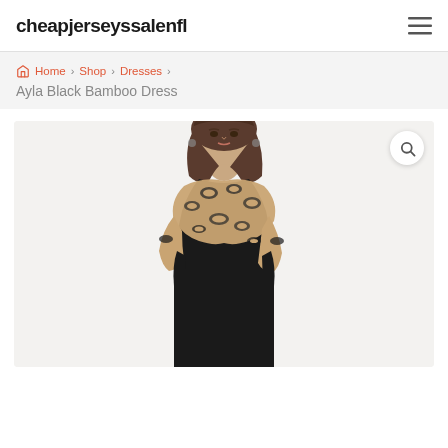cheapjerseyssalenfl
Home › Shop › Dresses › Ayla Black Bamboo Dress
[Figure (photo): Model wearing a black dress and leopard-print scarf, photographed from the waist up against a white background. A search/magnify icon appears in the top-right corner of the image frame.]